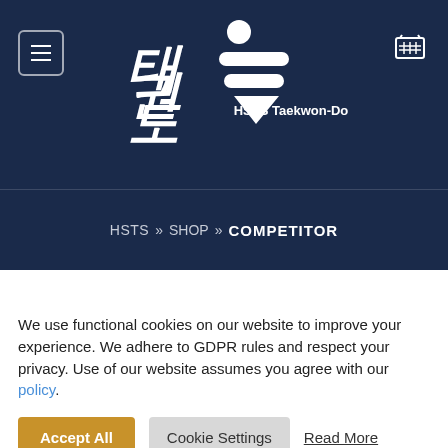[Figure (logo): HSTS Taekwondo logo with Korean characters and white geometric divider symbol on dark navy background, with hamburger menu icon and shopping cart icon]
HSTS » SHOP » COMPETITOR
[Figure (other): Gray placeholder/ad banner area]
We use functional cookies on our website to improve your experience. We adhere to GDPR rules and respect your privacy. Use of our website assumes you agree with our policy.
Accept All | Cookie Settings | Read More